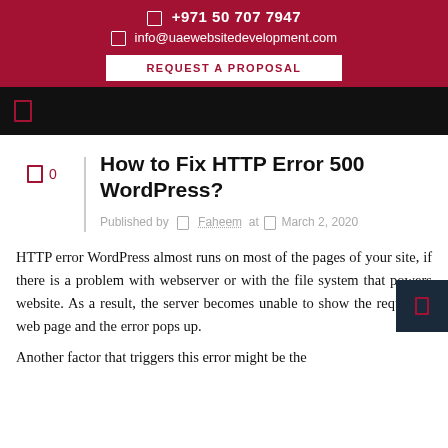📞 +971 50 707 7947  info@uaewebsitedevelopment.com  REQUEST A PROPOSAL
[Figure (screenshot): Black navigation bar with a red bordered icon on the left]
0
How to Fix HTTP Error 500 WordPress?
Published by  Faheem at  March 2, 2020
HTTP error WordPress almost runs on most of the pages of your site, if there is a problem with webserver or with the file system that powers website. As a result, the server becomes unable to show the requested web page and the error pops up.
Another factor that triggers this error might be the